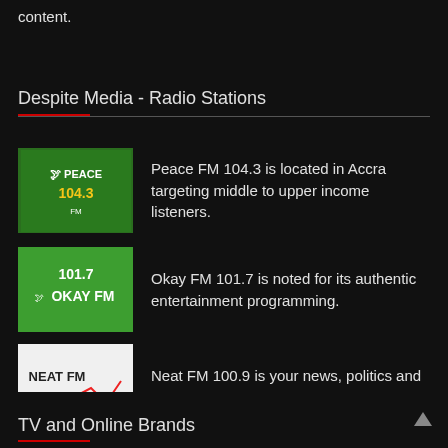content.
Despite Media - Radio Stations
Peace FM 104.3 is located in Accra targeting middle to upper income listeners.
Okay FM 101.7 is noted for its authentic entertainment programming.
Neat FM 100.9 is your news, politics and entertainment radio station in Accra.
Hello FM 101.5 is the biggest local radio station based in the Garden city, Kumasi
TV and Online Brands